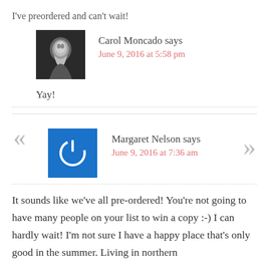I've preordered and can't wait!
Carol Moncado says
June 9, 2016 at 5:58 pm
[Figure (photo): Black and white photo of Carol Moncado, a woman smiling]
Yay!
[Figure (logo): Blue square icon with a white power/circle symbol, with gray double chevron marks on left and right sides]
Margaret Nelson says
June 9, 2016 at 7:36 am
It sounds like we've all pre-ordered! You're not going to have many people on your list to win a copy :-) I can hardly wait! I'm not sure I have a happy place that's only good in the summer. Living in northern